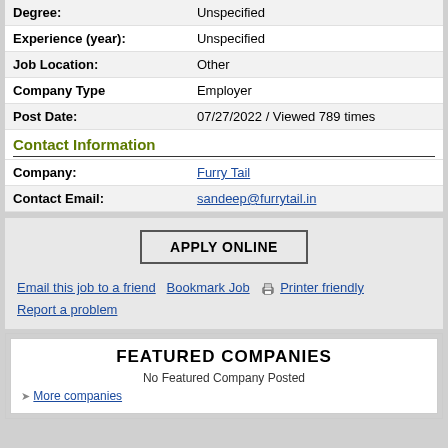| Degree: | Unspecified |
| Experience (year): | Unspecified |
| Job Location: | Other |
| Company Type | Employer |
| Post Date: | 07/27/2022 / Viewed 789 times |
| Contact Information |  |
| Company: | Furry Tail |
| Contact Email: | sandeep@furrytail.in |
APPLY ONLINE
Email this job to a friend   Bookmark Job   Printer friendly
Report a problem
FEATURED COMPANIES
No Featured Company Posted
More companies